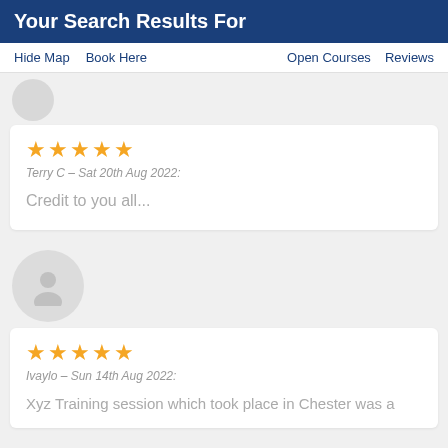Your Search Results For
Hide Map   Book Here                Open Courses   Reviews
★★★★★
Terry C – Sat 20th Aug 2022:
Credit to you all...
★★★★★
Ivaylo – Sun 14th Aug 2022:
Xyz Training session which took place in Chester was a